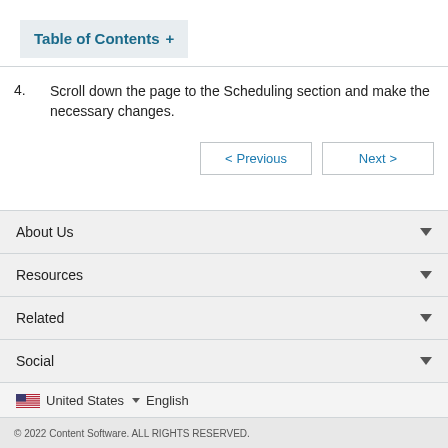Table of Contents +
4.   Scroll down the page to the Scheduling section and make the necessary changes.
< Previous   Next >
About Us
Resources
Related
Social
United States   English
© 2022 Content Software. ALL RIGHTS RESERVED.